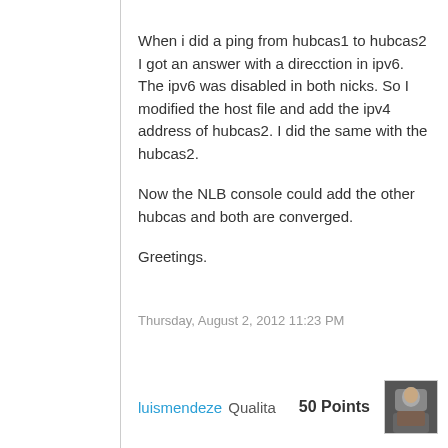When i did a ping from hubcas1 to hubcas2 I got an answer with a direcction in ipv6. The ipv6 was disabled in both nicks. So I modified the host file and add the ipv4 address of hubcas2. I did the same with the hubcas2.
Now the NLB console could add the other hubcas and both are converged.
Greetings.
Thursday, August 2, 2012 11:23 PM
[Figure (photo): User avatar thumbnail photo of luismendeze]
luismendeze Qualita   50 Points